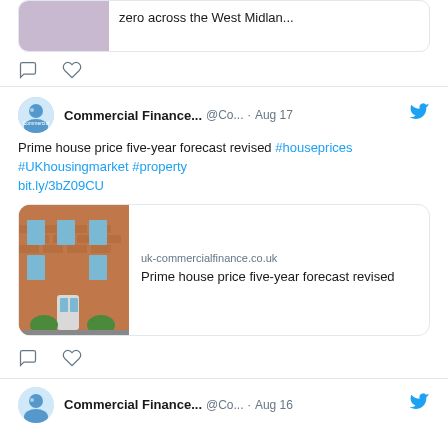[Figure (screenshot): Partial tweet card with image showing a link card and comment/like icons below]
Commercial Finance... @Co... · Aug 17
Prime house price five-year forecast revised #houseprices #UKhousingmarket #property bit.ly/3bZ09CU
[Figure (screenshot): Link preview card showing uk-commercialfinance.co.uk with photo of a brick building and text 'Prime house price five-year forecast revised']
Commercial Finance... @Co... · Aug 16
Tags
bank of england
BoE
boe interest rates
brexit
btl
Buy to Let